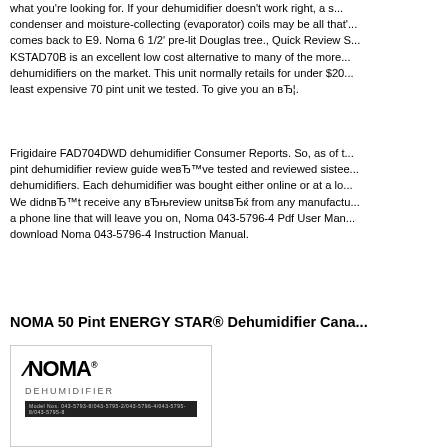what you're looking for. If your dehumidifier doesn't work right, a s... condenser and moisture-collecting (evaporator) coils may be all that'... comes back to E9. Noma 6 1/2' pre-lit Douglas tree., Quick Review S... KSTAD70B is an excellent low cost alternative to many of the more... dehumidifiers on the market. This unit normally retails for under $20... least expensive 70 pint unit we tested. To give you an вЂ¦.
Frigidaire FAD704DWD dehumidifier Consumer Reports. So, as of t... pint dehumidifier review guide weвЂ™ve tested and reviewed siste... dehumidifiers. Each dehumidifier was bought either online or at a lo... We didnвЂ™t receive any вЂњreview unitsвЂќ from any manufactu... a phone line that will leave you on, Noma 043-5796-4 Pdf User Man... download Noma 043-5796-4 Instruction Manual.
NOMA 50 Pint ENERGY STAR® Dehumidifier Cana...
[Figure (photo): NOMA Dehumidifier product image showing the front cover of a manual or product box with NOMA logo, DEHUMIDIFIER label, and a dark bar with model numbers.]